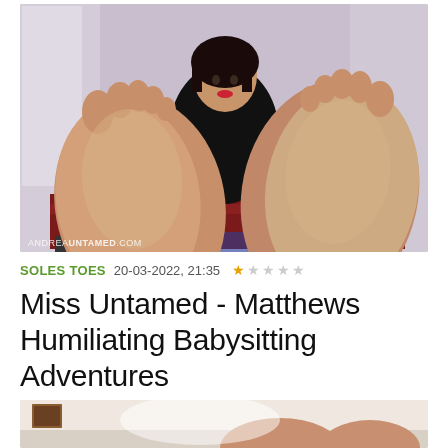[Figure (photo): Woman in black clothing sitting on a red surface with bare feet extended toward camera showing soles, white/purple room background. Watermark: ANDREAUNTAMED.COM]
SOLES TOES  20-03-2022, 21:35  ★☆☆☆☆
Miss Untamed - Matthews Humiliating Babysitting Adventures
[Figure (photo): Partial view of another photo showing a person, cropped at bottom of page]